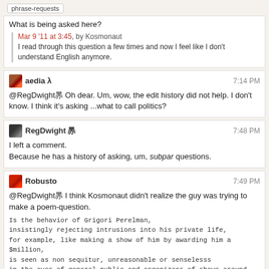phrase-requests
What is being asked here?
Mar 9 '11 at 3:45, by Kosmonaut
I read through this question a few times and now I feel like I don't understand English anymore.
aedia λ  7:14 PM
@RegDwight㫱 Oh dear. Um, wow, the edit history did not help. I don't know. I think it's asking ...what to call politics?
RegDwight 㫱  7:48 PM
I left a comment.
Because he has a history of asking, um, subpar questions.
Robusto  7:49 PM
@RegDwight㫱 I think Kosmonaut didn't realize the guy was trying to make a poem-question.
Is the behavior of Grigori Perelman,
insistingly rejecting intrusions into his private life,
for example, like making a show of him by awarding him a $million,
is seen as non sequitur, unreasonable or senselesss
in the eyes of general public and organizers of shows around
mathematical sciences?
——
See how he's working at the enjambments?
RegDwight 㫱  7:50 PM